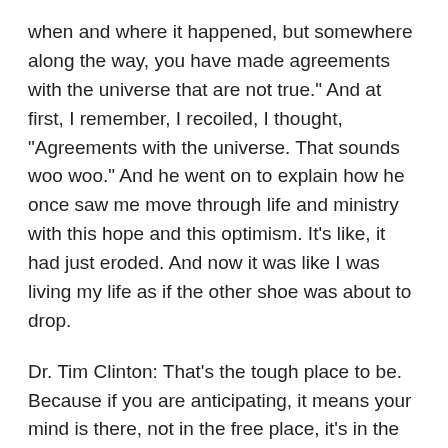when and where it happened, but somewhere along the way, you have made agreements with the universe that are not true." And at first, I remember, I recoiled, I thought, "Agreements with the universe. That sounds woo woo." And he went on to explain how he once saw me move through life and ministry with this hope and this optimism. It's like, it had just eroded. And now it was like I was living my life as if the other shoe was about to drop.
Dr. Tim Clinton: That's the tough place to be. Because if you are anticipating, it means your mind is there, not in the free place, it's in the dark place. How do you train your mind? How do you dig out of that kind of a ditch?